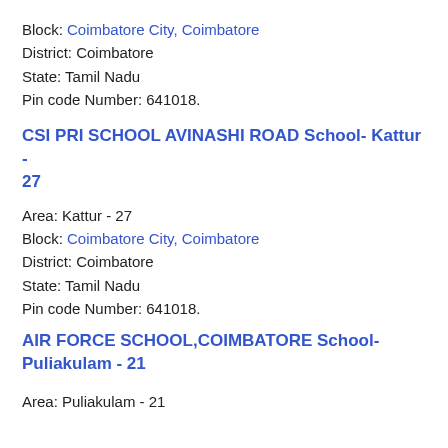Block: Coimbatore City, Coimbatore
District: Coimbatore
State: Tamil Nadu
Pin code Number: 641018.
CSI PRI SCHOOL AVINASHI ROAD School- Kattur - 27
Area: Kattur - 27
Block: Coimbatore City, Coimbatore
District: Coimbatore
State: Tamil Nadu
Pin code Number: 641018.
AIR FORCE SCHOOL,COIMBATORE School- Puliakulam - 21
Area: Puliakulam - 21